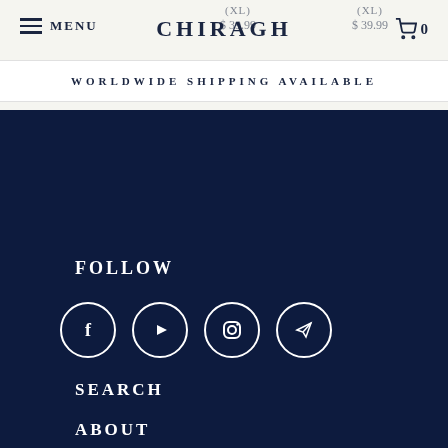MENU | CHIRAGH | 0
WORLDWIDE SHIPPING AVAILABLE
FOLLOW
[Figure (infographic): Four social media icon circles: Facebook (f), YouTube (play button), Instagram (camera), Telegram (paper plane)]
SEARCH
ABOUT
TERMS
PRIVACY POLICY
SHIPPING POLICY